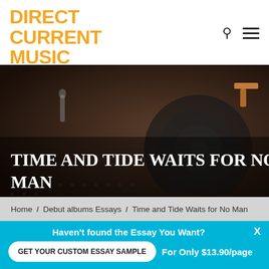DIRECT CURRENT MUSIC
Free Music Database
[Figure (photo): Dark moody hero image with vinyl record and music equipment, with large white uppercase text overlay reading TIME AND TIDE WAITS FOR NO MAN]
TIME AND TIDE WAITS FOR NO MAN
Home / Debut albums Essays / Time and Tide Waits for No Man
Haven't found the Essay You Want?  X
GET YOUR CUSTOM ESSAY SAMPLE
For Only $13.90/page